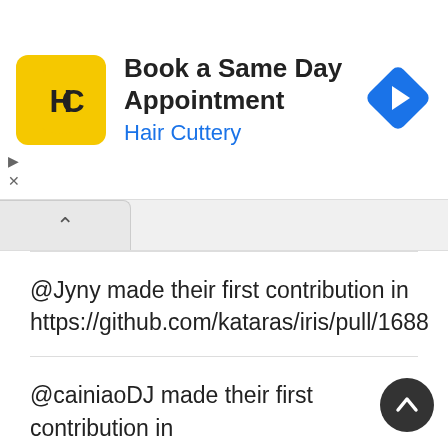[Figure (screenshot): Hair Cuttery advertisement banner with logo, title 'Book a Same Day Appointment', subtitle 'Hair Cuttery' in blue, and a blue navigation arrow icon]
@Jyny made their first contribution in https://github.com/kataras/iris/pull/1688
@cainiaoDJ made their first contribution in https://github.com/kataras/iris/pull/1696